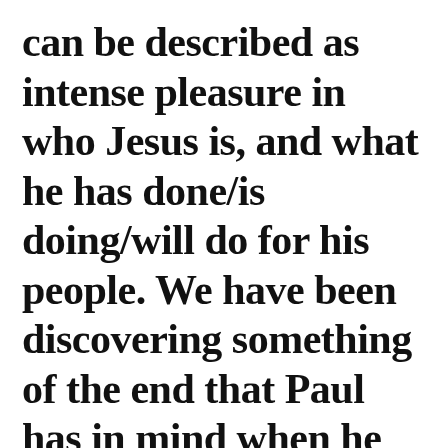can be described as intense pleasure in who Jesus is, and what he has done/is doing/will do for his people. We have been discovering something of the end that Paul has in mind when he calls to...